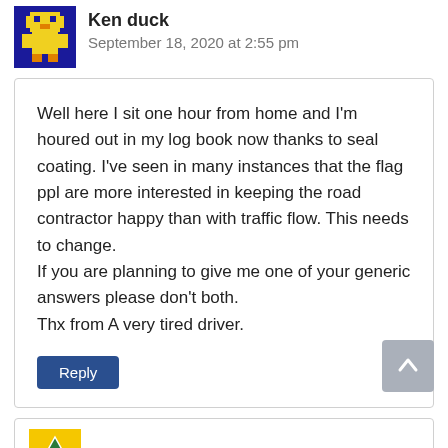[Figure (illustration): Pixel art avatar of a yellow figure on blue background (Ken duck user avatar)]
Ken duck
September 18, 2020 at 2:55 pm
Well here I sit one hour from home and I'm houred out in my log book now thanks to seal coating. I've seen in many instances that the flag ppl are more interested in keeping the road contractor happy than with traffic flow. This needs to change.
If you are planning to give me one of your generic answers please don't both.
Thx from A very tired driver.
Reply
[Figure (logo): tranbceditor user avatar with road/triangle logo on yellow background]
tranbceditor